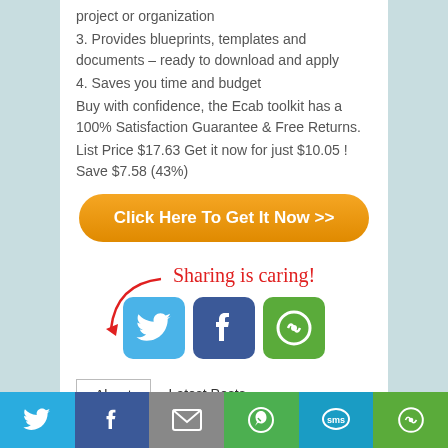project or organization
3. Provides blueprints, templates and documents – ready to download and apply
4. Saves you time and budget
Buy with confidence, the Ecab toolkit has a 100% Satisfaction Guarantee & Free Returns.
List Price $17.63 Get it now for just $10.05 ! Save $7.58 (43%)
[Figure (other): Orange rounded button with text 'Click Here To Get It Now >>']
[Figure (infographic): Sharing is caring! text with arrow pointing to social share icons: Twitter, Facebook, and a share icon]
About   Latest Posts
[Figure (infographic): Bottom social sharing bar with Twitter, Facebook, Email, WhatsApp, SMS, and share buttons]